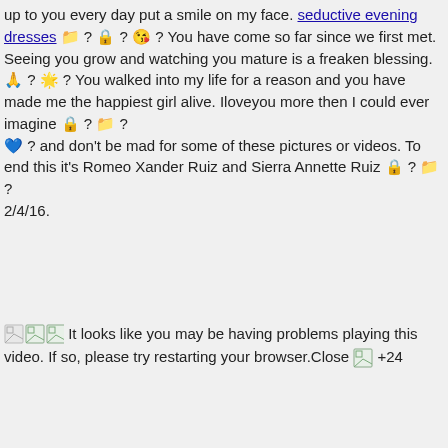up to you every day put a smile on my face. seductive evening dresses 📁 ? 🔒 ? 😘 ? You have come so far since we first met. Seeing you grow and watching you mature is a freaken blessing. 🙏 ? 🌟 ? You walked into my life for a reason and you have made me the happiest girl alive. Iloveyou more then I could ever imagine 🔒 ? 📁 ? 💙 ? and don't be mad for some of these pictures or videos. To end this it's Romeo Xander Ruiz and Sierra Annette Ruiz 🔒 ? 📁 ? 2/4/16.
[broken image] [broken image] [broken image] It looks like you may be having problems playing this video. If so, please try restarting your browser.Close [broken image] +24